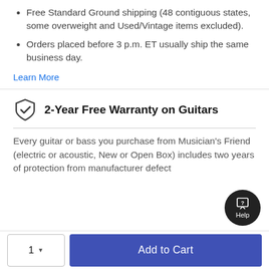Free Standard Ground shipping (48 contiguous states, some overweight and Used/Vintage items excluded).
Orders placed before 3 p.m. ET usually ship the same business day.
Learn More
2-Year Free Warranty on Guitars
Every guitar or bass you purchase from Musician's Friend (electric or acoustic, New or Open Box) includes two years of protection from manufacturer defect
Add to Cart